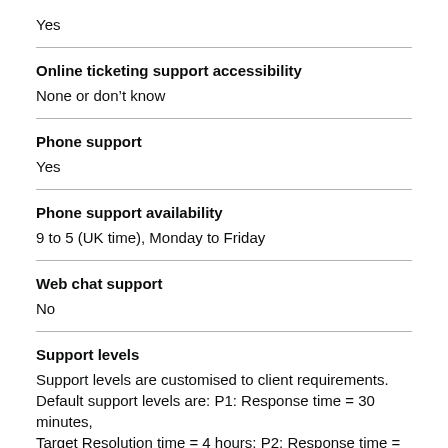Yes
Online ticketing support accessibility
None or don't know
Phone support
Yes
Phone support availability
9 to 5 (UK time), Monday to Friday
Web chat support
No
Support levels
Support levels are customised to client requirements. Default support levels are: P1: Response time = 30 minutes, Target Resolution time = 4 hours; P2: Response time = 1 hour, Target resolution time = 8 hours; P3: Response time = 2